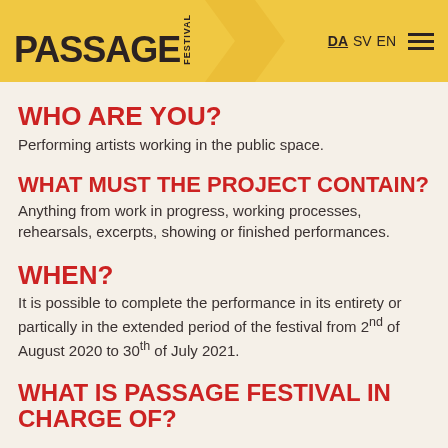PASSAGE FESTIVAL — DA SV EN
WHO ARE YOU?
Performing artists working in the public space.
WHAT MUST THE PROJECT CONTAIN?
Anything from work in progress, working processes, rehearsals, excerpts, showing or finished performances.
WHEN?
It is possible to complete the performance in its entirety or partically in the extended period of the festival from 2nd of August 2020 to 30th of July 2021.
WHAT IS PASSAGE FESTIVAL IN CHARGE OF?